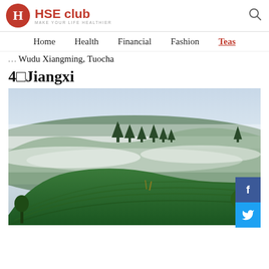HSE club — MAKE YOUR LIFE HEALTHIER
Home   Health   Financial   Fashion   Teas
Wudu Xiangming, Tuocha
4□Jiangxi
[Figure (photo): Aerial view of terraced tea plantation hills covered in lush green tea bushes with misty fog drifting through the valleys and tall trees silhouetted against the hazy sky — Jiangxi region, China]